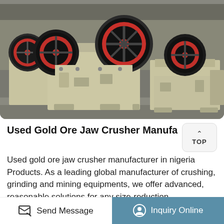[Figure (photo): Industrial jaw crushers in a manufacturing facility — large beige/cream colored ore jaw crusher machines with red and black flywheels, photographed indoors]
Used Gold Ore Jaw Crusher Manufacturer In Ni…
Used gold ore jaw crusher manufacturer in nigeria Products. As a leading global manufacturer of crushing, grinding and mining equipments, we offer advanced, reasonable solutions for any size-reduction requirements including, Used gold ore jaw crusher manufacturer in nigeria, quarry, aggregate, and different kinds of minerals